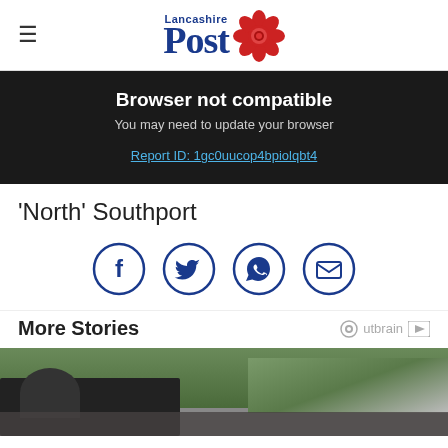Lancashire Post
Browser not compatible
You may need to update your browser
Report ID: 1gc0uucop4bpiolqbt4
'North' Southport
[Figure (infographic): Social share icons: Facebook, Twitter, WhatsApp, Email — circular dark blue outlined icons]
More Stories
[Figure (photo): Partial photo of a car and driveway with greenery in background, partially obscured by grey overlay at bottom]